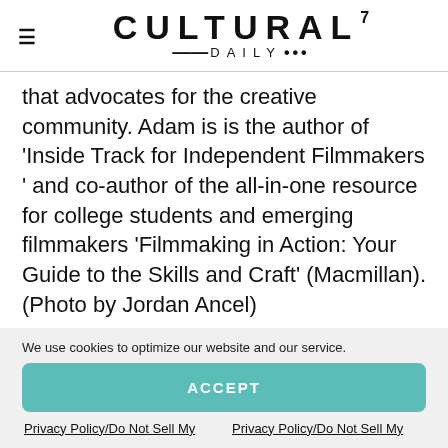≡ CULTURAL7 —·— DAILY···
that advocates for the creative community. Adam is is the author of 'Inside Track for Independent Filmmakers ' and co-author of the all-in-one resource for college students and emerging filmmakers 'Filmmaking in Action: Your Guide to the Skills and Craft' (Macmillan). (Photo by Jordan Ancel)
We use cookies to optimize our website and our service.
ACCEPT
Privacy Policy/Do Not Sell My Personal Information
Privacy Policy/Do Not Sell My Personal Information